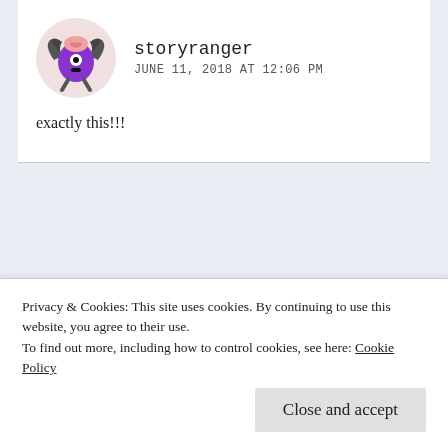[Figure (illustration): Circular avatar of a cartoon monster with bat wings, purple body, one eye, pink brain visible on top, sitting on white/pink background]
storyranger
JUNE 11, 2018 AT 12:06 PM
exactly this!!!
[Figure (illustration): Circular avatar of a cartoon yellow bug/potato creature with bunny ears and a smiley face, on light blue/grey background]
The Awe Ritual
JUNE 13, 2018 AT 3:30 PM
Privacy & Cookies: This site uses cookies. By continuing to use this website, you agree to their use.
To find out more, including how to control cookies, see here: Cookie Policy
Close and accept